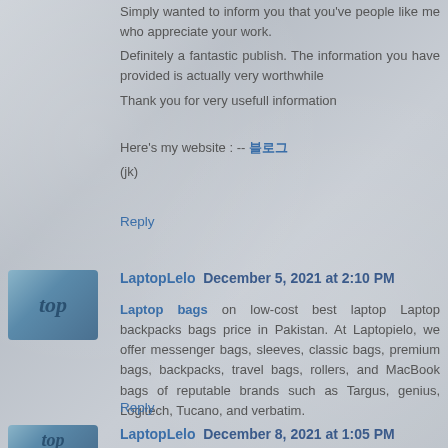Simply wanted to inform you that you've people like me who appreciate your work.
Definitely a fantastic publish. The information you have provided is actually very worthwhile
Thank you for very usefull information
Here's my website : -- 블로그
(jk)
Reply
LaptopLelo December 5, 2021 at 2:10 PM
Laptop bags on low-cost best laptop Laptop backpacks bags price in Pakistan. At Laptopielo, we offer messenger bags, sleeves, classic bags, premium bags, backpacks, travel bags, rollers, and MacBook bags of reputable brands such as Targus, genius, Logitech, Tucano, and verbatim.
Reply
LaptopLelo December 8, 2021 at 1:05 PM